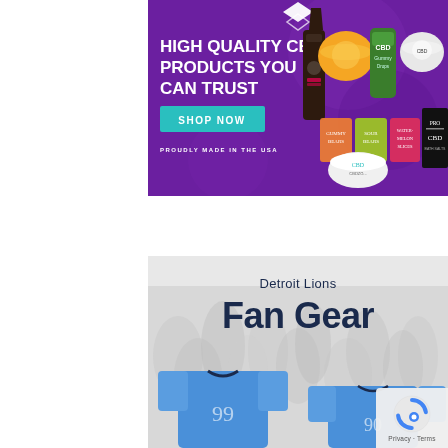[Figure (illustration): CBD advertisement banner with purple background, diamond logo, headline 'HIGH QUALITY CBD PRODUCTS YOU CAN TRUST', teal 'SHOP NOW' button, 'PROUDLY MADE IN THE USA' text, and multiple CBD product images on right side.]
[Figure (illustration): Detroit Lions Fan Gear advertisement showing 'Detroit Lions' title text, 'Fan Gear' large heading, and blue football jerseys with crowd in background. Privacy/reCAPTCHA badge in bottom right corner.]